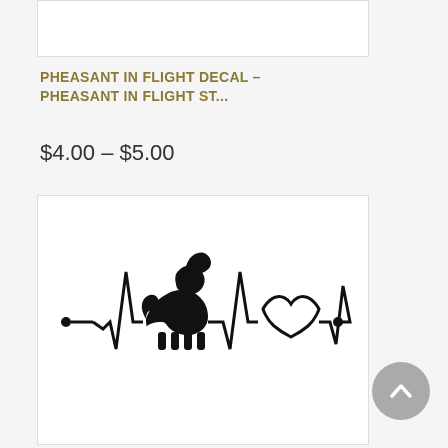[Figure (other): Partial white product card visible at the top of the page]
PHEASANT IN FLIGHT DECAL – PHEASANT IN FLIGHT ST...
$4.00 – $5.00
[Figure (illustration): Black silhouette decal of a Pomeranian dog with a heartbeat/EKG line and a heart outline design]
[Figure (other): Gray circular scroll-to-top button with upward chevron arrow]